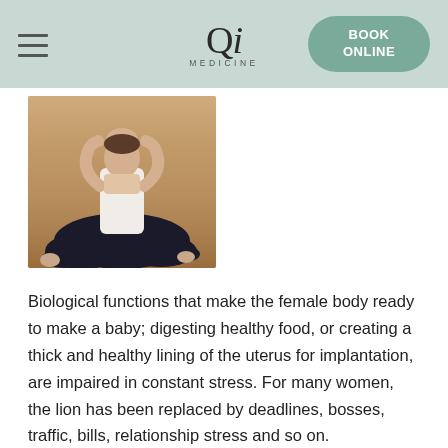Qi Medicine — BOOK ONLINE
[Figure (photo): Person sitting cross-legged in yoga/meditation pose on a wooden floor, wearing black pants and a light top, hands raised in a prayer gesture.]
Biological functions that make the female body ready to make a baby; digesting healthy food, or creating a thick and healthy lining of the uterus for implantation, are impaired in constant stress. For many women, the lion has been replaced by deadlines, bosses, traffic, bills, relationship stress and so on.
It’s more important than ever for women to manage their stress levels appropriately. Yoga and meditation